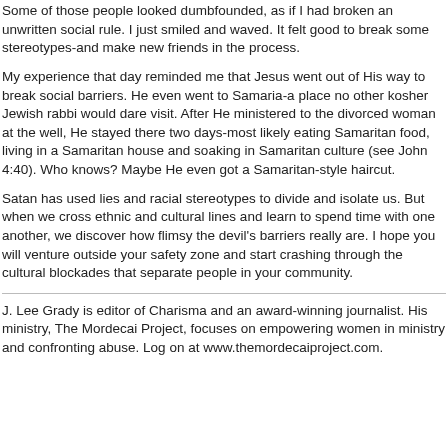Some of those people looked dumbfounded, as if I had broken an unwritten social rule. I just smiled and waved. It felt good to break some stereotypes-and make new friends in the process.
My experience that day reminded me that Jesus went out of His way to break social barriers. He even went to Samaria-a place no other kosher Jewish rabbi would dare visit. After He ministered to the divorced woman at the well, He stayed there two days-most likely eating Samaritan food, living in a Samaritan house and soaking in Samaritan culture (see John 4:40). Who knows? Maybe He even got a Samaritan-style haircut.
Satan has used lies and racial stereotypes to divide and isolate us. But when we cross ethnic and cultural lines and learn to spend time with one another, we discover how flimsy the devil's barriers really are. I hope you will venture outside your safety zone and start crashing through the cultural blockades that separate people in your community.
J. Lee Grady is editor of Charisma and an award-winning journalist. His ministry, The Mordecai Project, focuses on empowering women in ministry and confronting abuse. Log on at www.themordecaiproject.com.